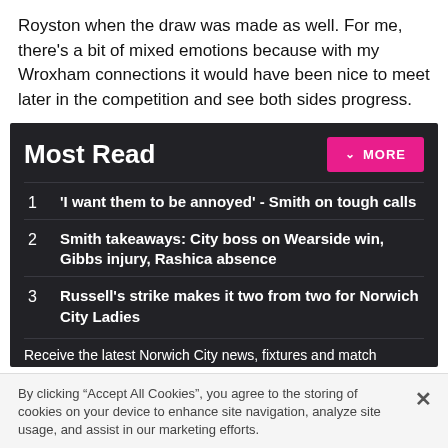Royston when the draw was made as well. For me, there's a bit of mixed emotions because with my Wroxham connections it would have been nice to meet later in the competition and see both sides progress.
Most Read
1 'I want them to be annoyed' - Smith on tough calls
2 Smith takeaways: City boss on Wearside win, Gibbs injury, Rashica absence
3 Russell's strike makes it two from two for Norwich City Ladies
Receive the latest Norwich City news, fixtures and match
By clicking "Accept All Cookies", you agree to the storing of cookies on your device to enhance site navigation, analyze site usage, and assist in our marketing efforts.